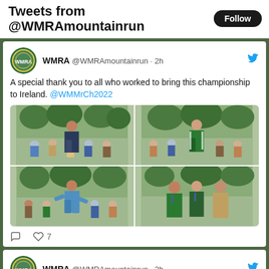Tweets from @WMRAmountainrun
WMRA @WMRAmountainrun · 2h
A special thank you to all who worked to bring this championship to Ireland. @WMMrCh2022
[Figure (photo): 2x2 grid of four photos showing people at an outdoor event, some wearing green athletic jackets, speaking to a crowd]
7 likes
WMRA @WMRAmountainrun · 2h
The WMRA is sad to share the news of the death of Adrian Woods. As an athlete, coach and team manager, he played a major role in